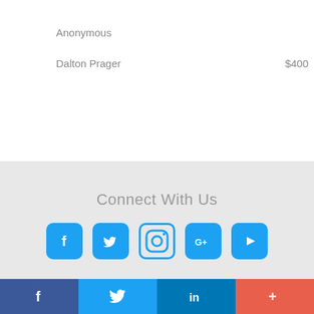Anonymous
Dalton Prager    $400
Connect With Us
[Figure (infographic): Five social media icon buttons in a row: Facebook (f), Twitter (bird), Instagram (camera), Google+ (G+), YouTube (play button). All in blue/cyan tones on a light grey background.]
[Figure (infographic): Bottom bar with four colored sections: dark blue Facebook (f), light blue Twitter (bird), medium blue LinkedIn (in), red-orange More (+).]